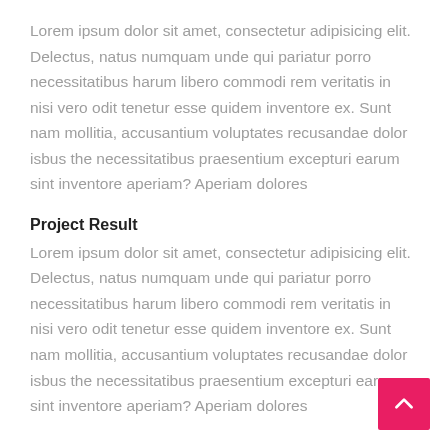Lorem ipsum dolor sit amet, consectetur adipisicing elit. Delectus, natus numquam unde qui pariatur porro necessitatibus harum libero commodi rem veritatis in nisi vero odit tenetur esse quidem inventore ex. Sunt nam mollitia, accusantium voluptates recusandae dolor isbus the necessitatibus praesentium excepturi earum sint inventore aperiam? Aperiam dolores
Project Result
Lorem ipsum dolor sit amet, consectetur adipisicing elit. Delectus, natus numquam unde qui pariatur porro necessitatibus harum libero commodi rem veritatis in nisi vero odit tenetur esse quidem inventore ex. Sunt nam mollitia, accusantium voluptates recusandae dolor isbus the necessitatibus praesentium excepturi earum sint inventore aperiam? Aperiam dolores